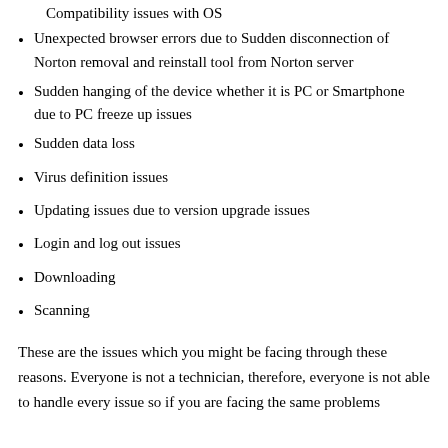Compatibility issues with OS
Unexpected browser errors due to Sudden disconnection of Norton removal and reinstall tool from Norton server
Sudden hanging of the device whether it is PC or Smartphone due to PC freeze up issues
Sudden data loss
Virus definition issues
Updating issues due to version upgrade issues
Login and log out issues
Downloading
Scanning
These are the issues which you might be facing through these reasons. Everyone is not a technician, therefore, everyone is not able to handle every issue so if you are facing the same problems